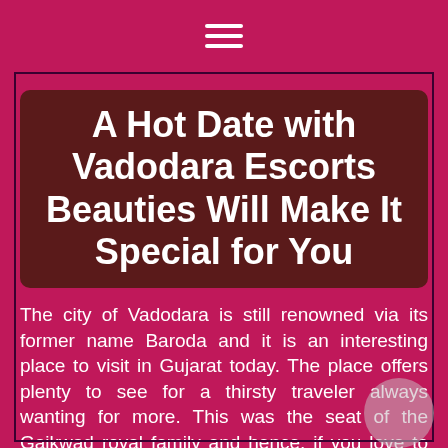☰
A Hot Date with Vadodara Escorts Beauties Will Make It Special for You
The city of Vadodara is still renowned via its former name Baroda and it is an interesting place to visit in Gujarat today. The place offers plenty to see for a thirsty traveler always wanting for more. This was the seat of the Gaikwad royal family and hence, if you love to see old architecture, this city can offer it in abundance. One can visit renowned places of tourist interests such as Lakshmi Vilas Palace and